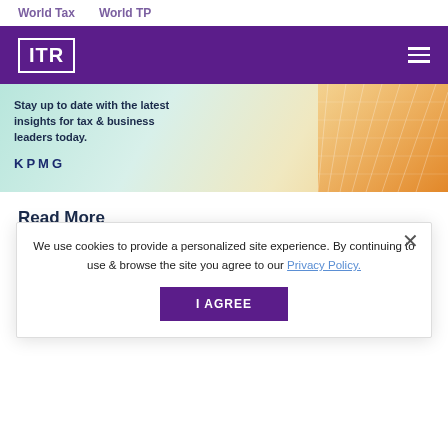World Tax   World TP
[Figure (logo): ITR (International Tax Review) purple header bar with logo and hamburger menu]
[Figure (infographic): KPMG advertisement banner: 'Stay up to date with the latest insights for tax & business leaders today.' with KPMG logo and decorative golden grid pattern on teal/green background]
Read More
We use cookies to provide a personalized site experience. By continuing to use & browse the site you agree to our Privacy Policy.
I AGREE
tobacco tax: Malawi seeks $310bn in unpaid taxes from mining company
By Danish Mehboob, August 05, 2022